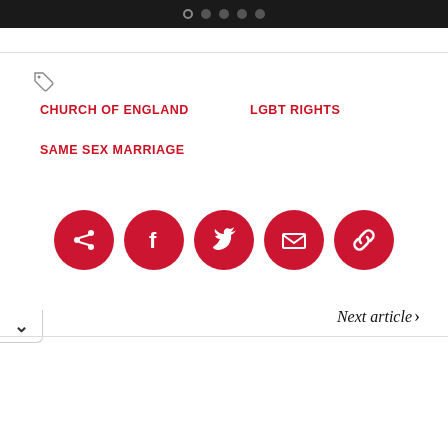navigation dots indicator
CHURCH OF ENGLAND
LGBT RIGHTS
SAME SEX MARRIAGE
[Figure (infographic): Five red circular social share buttons: Share, Facebook, Twitter, Email, Link]
Next article›